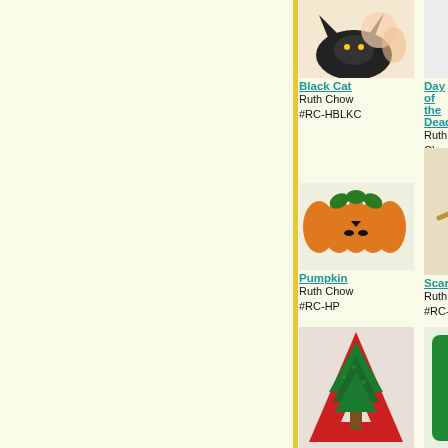[Figure (photo): Black Cat needlepoint product image]
Black Cat
Ruth Chow
#RC-HBLKC
[Figure (photo): Day of the Dead needlepoint product image]
Day of the Dead
Ruth Chow
#RC-HDD
[Figure (photo): Happy [truncated] needlepoint product image]
Happy...
Ruth Ch...
#RC-H...
[Figure (photo): Pumpkin needlepoint product image]
Pumpkin
Ruth Chow
#RC-HP
[Figure (photo): Scarecrow needlepoint product image]
Scarecrow
Ruth Chow
#RC-HSC
[Figure (photo): Trick or [truncated] needlepoint product image]
Trick or...
Ruth Ch...
#RC-HT...
[Figure (photo): Letter A needlepoint product image — red and green Christmas tree letter A]
Letter A
Ruth Chow
#RC-MCA
[Figure (photo): Letter E needlepoint product image — Santa letter E]
Letter E
Ruth Chow
#RC-MCE
[Figure (photo): Letter H [truncated] needlepoint product image]
Letter H...
Ruth Ch...
#RC-MC...